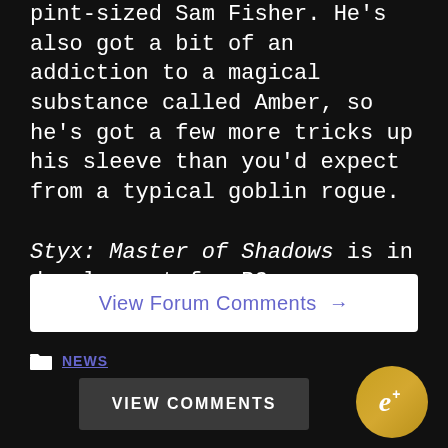pint-sized Sam Fisher. He's also got a bit of an addiction to a magical substance called Amber, so he's got a few more tricks up his sleeve than you'd expect from a typical goblin rogue.

Styx: Master of Shadows is in development for PC, PlayStation 4, and Xbox One.
View Forum Comments →
NEWS
VIEW COMMENTS
[Figure (logo): Circular gold logo with stylized 'e+' text]